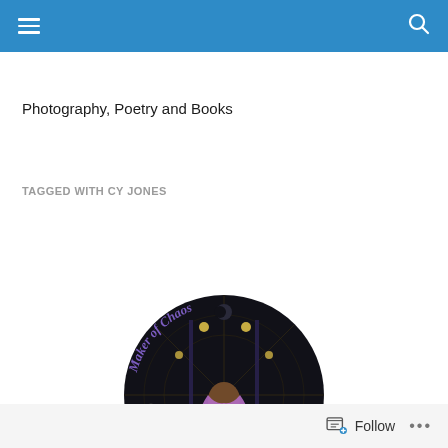Navigation bar with hamburger menu and search icon
Photography, Poetry and Books
TAGGED WITH CY JONES
[Figure (logo): Maker of Chaos logo: circular dark badge with a woman with purple hair, moons, and decorative text reading 'Maker of Chaos']
Follow  •••